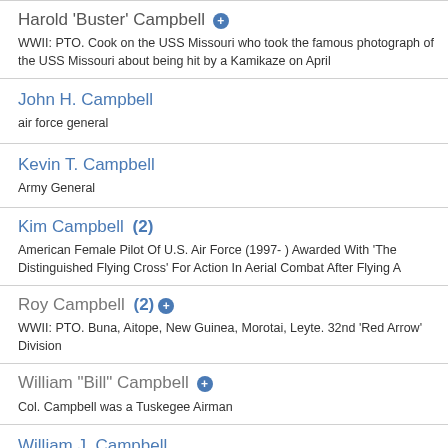Harold 'Buster' Campbell
WWII: PTO. Cook on the USS Missouri who took the famous photograph of the USS Missouri about being hit by a Kamikaze on April
John H. Campbell
air force general
Kevin T. Campbell
Army General
Kim Campbell  (2)
American Female Pilot Of U.S. Air Force (1997- ) Awarded With 'The Distinguished Flying Cross' For Action In Aerial Combat After Flying A
Roy Campbell  (2)
WWII: PTO. Buna, Aitope, New Guinea, Morotai, Leyte. 32nd 'Red Arrow' Division
William "Bill" Campbell
Col. Campbell was a Tuskegee Airman
William J. Campbell
air force general
Michael A. Canavan